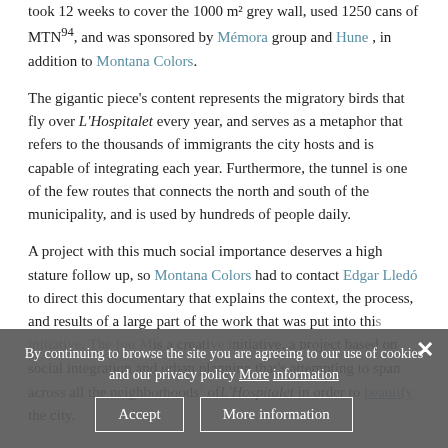took 12 weeks to cover the 1000 m² grey wall, used 1250 cans of MTN94, and was sponsored by Mémora group and Hune, in addition to Montana Colors.
The gigantic piece's content represents the migratory birds that fly over L'Hospitalet every year, and serves as a metaphor that refers to the thousands of immigrants the city hosts and is capable of integrating each year. Furthermore, the tunnel is one of the few routes that connects the north and south of the municipality, and is used by hundreds of people daily.
A project with this much social importance deserves a high stature follow up, so Montana Colors had to contact Edgar Lledó to direct this documentary that explains the context, the process, and results of a large part of the work that was put into this initiative. The fou Mis a creative initiative, a project based on social integration and urban planning that's attempting to span across all the neighborhoods of L'Hospitalet in order to beautify the city.
By continuing to browse the site you are agreeing to our use of cookies and our privacy policy More information
Accept | More information